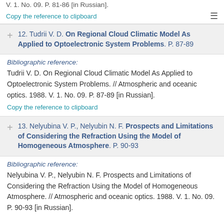V. 1. No. 09. P. 81-86 [in Russian].
Copy the reference to clipboard
12. Tudrii V. D. On Regional Cloud Climatic Model As Applied to Optoelectronic System Problems. P. 87-89
Bibliographic reference:
Tudrii V. D. On Regional Cloud Climatic Model As Applied to Optoelectronic System Problems. // Atmospheric and oceanic optics. 1988. V. 1. No. 09. P. 87-89 [in Russian].
Copy the reference to clipboard
13. Nelyubina V. P., Nelyubin N. F. Prospects and Limitations of Considering the Refraction Using the Model of Homogeneous Atmosphere. P. 90-93
Bibliographic reference:
Nelyubina V. P., Nelyubin N. F. Prospects and Limitations of Considering the Refraction Using the Model of Homogeneous Atmosphere. // Atmospheric and oceanic optics. 1988. V. 1. No. 09. P. 90-93 [in Russian].